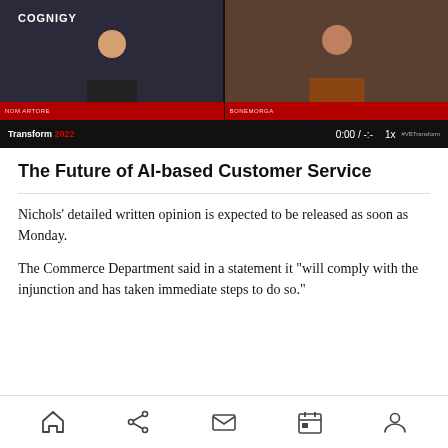[Figure (screenshot): Video player screenshot showing two people in a video conference. Left side shows a person in a black shirt in front of a Cognigy branded background. Right side shows a bearded man in a brown shirt. Controls bar shows '0:00 / -:-' and '1x' speed. 'Transform 2022' branding is visible at the bottom left of the video. A red title bar appears at the top.]
The Future of AI-based Customer Service
Nichols’ detailed written opinion is expected to be released as soon as Monday.
The Commerce Department said in a statement it “will comply with the injunction and has taken immediate steps to do so.”